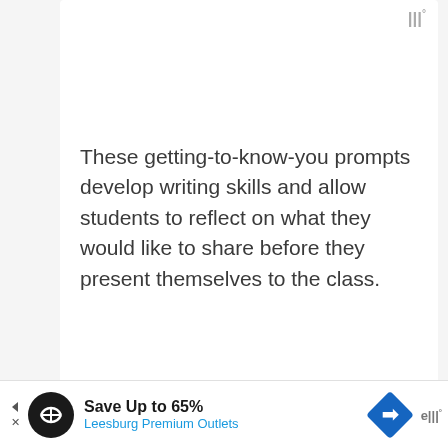[Figure (logo): Three vertical bars logo mark with degree symbol, gray color, top right of card]
These getting-to-know-you prompts develop writing skills and allow students to reflect on what they would like to share before they present themselves to the class.
Learn more: Education
12. Stand Up or Sit
[Figure (infographic): Advertisement bar: Save Up to 65% Leesburg Premium Outlets with circular logo and blue diamond arrow icon]